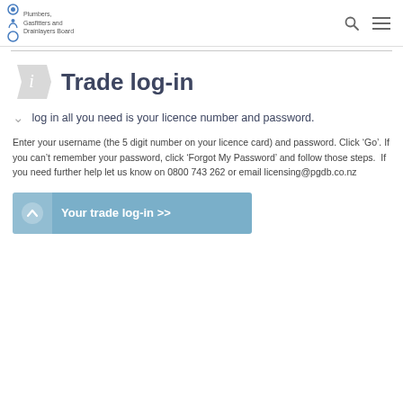Plumbers, Gasfitters and Drainlayers Board
Trade log-in
To log in all you need is your licence number and password.
Enter your username (the 5 digit number on your licence card) and password. Click ‘Go’. If you can’t remember your password, click ‘Forgot My Password’ and follow those steps.  If you need further help let us know on 0800 743 262 or email licensing@pgdb.co.nz
Your trade log-in >>